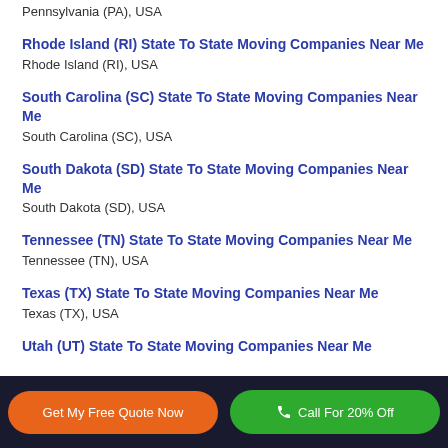Pennsylvania (PA), USA
Rhode Island (RI) State To State Moving Companies Near Me
Rhode Island (RI), USA
South Carolina (SC) State To State Moving Companies Near Me
South Carolina (SC), USA
South Dakota (SD) State To State Moving Companies Near Me
South Dakota (SD), USA
Tennessee (TN) State To State Moving Companies Near Me
Tennessee (TN), USA
Texas (TX) State To State Moving Companies Near Me
Texas (TX), USA
Utah (UT) State To State Moving Companies Near Me
Get My Free Quote Now | Call For 20% Off